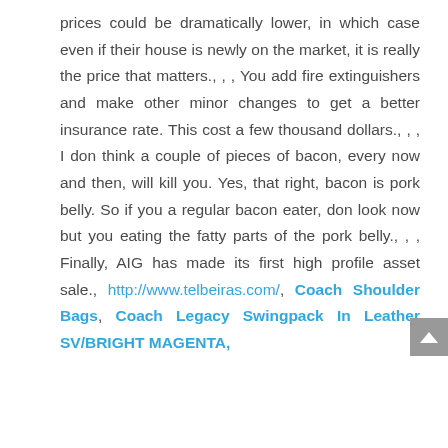prices could be dramatically lower, in which case even if their house is newly on the market, it is really the price that matters., , , You add fire extinguishers and make other minor changes to get a better insurance rate. This cost a few thousand dollars., , , I don think a couple of pieces of bacon, every now and then, will kill you. Yes, that right, bacon is pork belly. So if you a regular bacon eater, don look now but you eating the fatty parts of the pork belly., , , Finally, AIG has made its first high profile asset sale., http://www.telbeiras.com/, Coach Shoulder Bags, Coach Legacy Swingpack In Leather SV/BRIGHT MAGENTA, ...